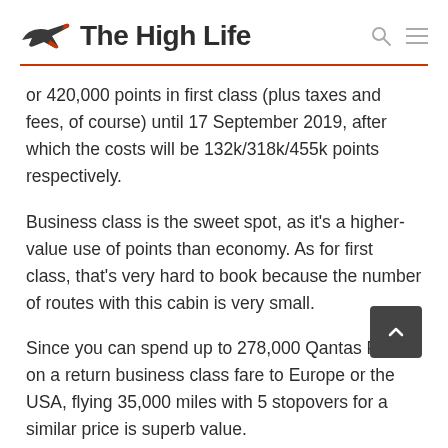The High Life
or 420,000 points in first class (plus taxes and fees, of course) until 17 September 2019, after which the costs will be 132k/318k/455k points respectively.
Business class is the sweet spot, as it's a higher-value use of points than economy. As for first class, that's very hard to book because the number of routes with this cabin is very small.
Since you can spend up to 278,000 Qantas Points on a return business class fare to Europe or the USA, flying 35,000 miles with 5 stopovers for a similar price is superb value.